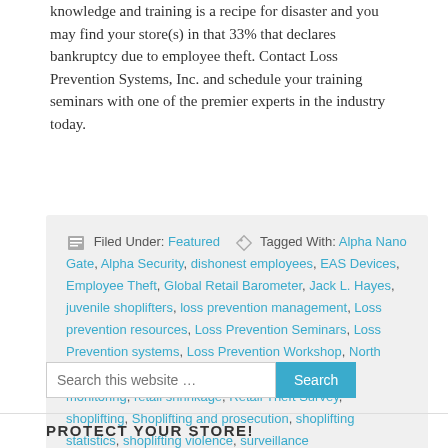knowledge and training is a recipe for disaster and you may find your store(s) in that 33% that declares bankruptcy due to employee theft. Contact Loss Prevention Systems, Inc. and schedule your training seminars with one of the premier experts in the industry today.
Filed Under: Featured   Tagged With: Alpha Nano Gate, Alpha Security, dishonest employees, EAS Devices, Employee Theft, Global Retail Barometer, Jack L. Hayes, juvenile shoplifters, loss prevention management, Loss prevention resources, Loss Prevention Seminars, Loss Prevention systems, Loss Prevention Workshop, North America Shrinkage, retail sales, retail security and monitoring, retail shrinkage, Retail Theft Survey, shoplifting, Shoplifting and prosecution, shoplifting statistics, shoplifting violence, surveillance
Search this website …
PROTECT YOUR STORE!